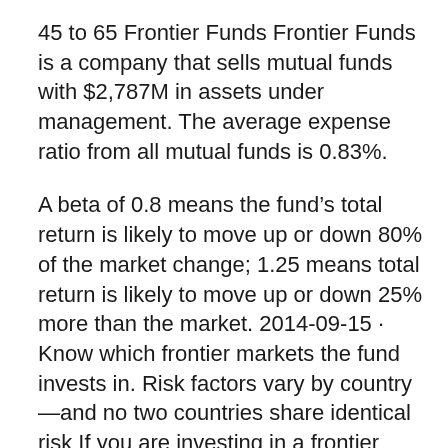45 to 65 Frontier Funds Frontier Funds is a company that sells mutual funds with $2,787M in assets under management. The average expense ratio from all mutual funds is 0.83%.
A beta of 0.8 means the fund’s total return is likely to move up or down 80% of the market change; 1.25 means total return is likely to move up or down 25% more than the market. 2014-09-15 · Know which frontier markets the fund invests in. Risk factors vary by country—and no two countries share identical risk If you are investing in a frontier ETF or index mutual fund, Mutual Funds - The latest news about Mutual Funds from the WSJ Frontier Markets Blog.
Gjengangeren film